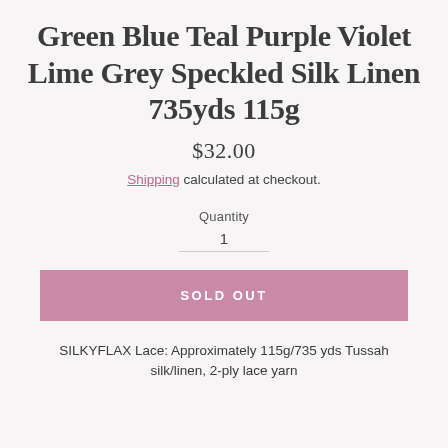Green Blue Teal Purple Violet Lime Grey Speckled Silk Linen 735yds 115g
$32.00
Shipping calculated at checkout.
Quantity
1
SOLD OUT
SILKYFLAX Lace: Approximately 115g/735 yds Tussah silk/linen, 2-ply lace yarn